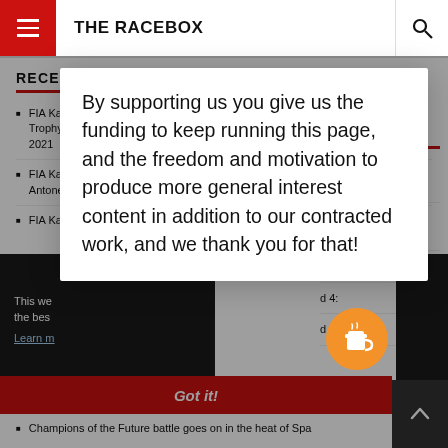THE RACEBOX
RECENT POSTS
FIA Karti... Trophy: ... 2021
FIA Karti... Antonelli... Round 4: July 25, 2021
FIA Karti... Round 4:
By supporting us you give us the funding to keep running this page, and the freedom and motivation to produce more general interest content in addition to our contracted work, and we thank you for that!
This we... the bes...
Learn m...
Got it!
Champions of the Future battle goes on in the heat of Spa...